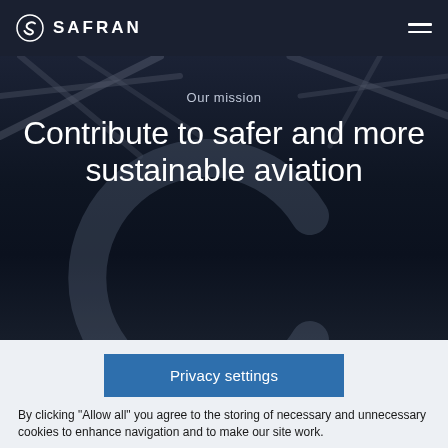SAFRAN
[Figure (screenshot): Dark background hero image with engine/turbine fan blades visible and a large stylized '6' or circular C-shape in the lower portion. Dark navy/charcoal tones throughout.]
Our mission
Contribute to safer and more sustainable aviation
Privacy settings
By clicking “Allow all” you agree to the storing of necessary and unnecessary cookies to enhance navigation and to make our site work.